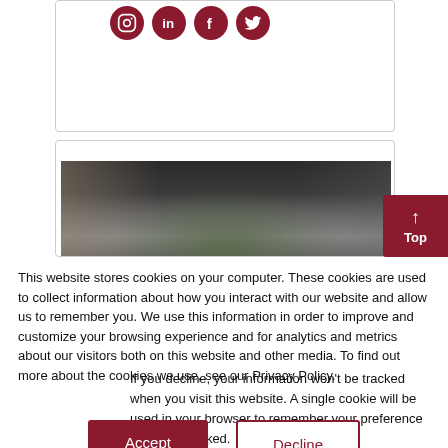[Figure (screenshot): Social media icons (Instagram, LinkedIn, Facebook, Twitter) in dark red circles]
[Figure (photo): Storefront photo showing glass windows, rugs/textiles, and plants]
This website stores cookies on your computer. These cookies are used to collect information about how you interact with our website and allow us to remember you. We use this information in order to improve and customize your browsing experience and for analytics and metrics about our visitors both on this website and other media. To find out more about the cookies we use, see our Privacy Policy.
If you decline, your information won't be tracked when you visit this website. A single cookie will be used in your browser to remember your preference not to be tracked.